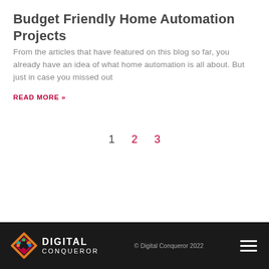Budget Friendly Home Automation Projects
From the articles that have featured on this blog so far, you already have an idea of what home automation is all about. But just in case you missed out
READ MORE »
1  2  3
© Digital Conqueror 2022